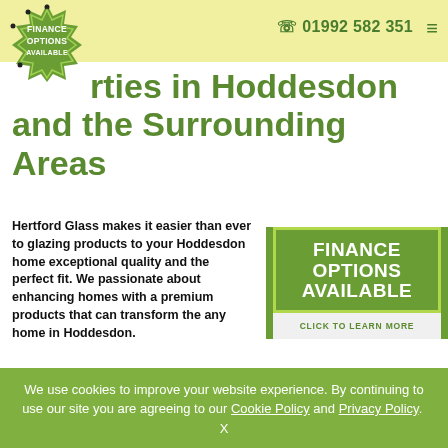☏ 01992 582 351
[Figure (logo): Green starburst badge with text FINANCE OPTIONS AVAILABLE]
rties in Hoddesdon and the Surrounding Areas
Hertford Glass makes it easier than ever to glazing products to your Hoddesdon home exceptional quality and the perfect fit. We passionate about enhancing homes with a premium products that can transform the any home in Hoddesdon.
[Figure (infographic): Green box with FINANCE OPTIONS AVAILABLE and CLICK TO LEARN MORE button]
Our elite services are perfect for any size of project from replacing your front door to revamping your entire home. No matter how big or small Hertford Glass is your number one choice for a local expert. We have the knowledge to lend advice whether you have a tradition property or contemporary home. We have helped many local residents lift the general look and
We use cookies to improve your website experience. By continuing to use our site you are agreeing to our Cookie Policy and Privacy Policy. X